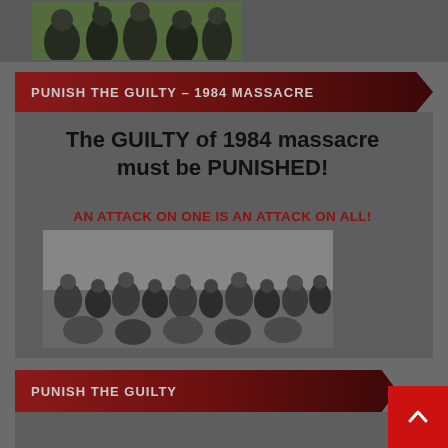[Figure (photo): Photo of people at a rally or protest, partially visible at top of page]
PUNISH THE GUILTY – 1984 MASSACRE
[Figure (infographic): Protest infographic with bold text reading 'The GUILTY of 1984 massacre must be PUNISHED!' and red text 'AN ATTACK ON ONE IS AN ATTACK ON ALL!' with a historical black-and-white photo of people below]
PUNISH THE GUILTY